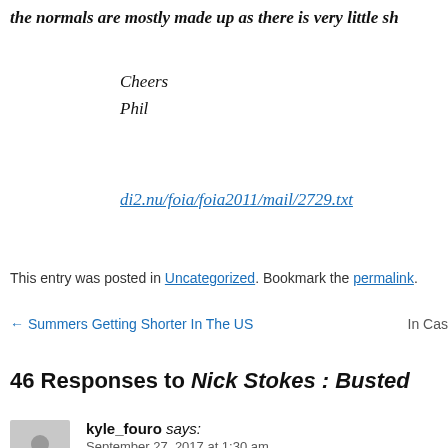the normals are mostly made up as there is very little sh
Cheers
Phil
di2.nu/foia/foia2011/mail/2729.txt
This entry was posted in Uncategorized. Bookmark the permalink.
← Summers Getting Shorter In The US    In Cas
46 Responses to Nick Stokes : Busted
kyle_fouro says:
September 27, 2017 at 1:30 am
Mosher coming unhinged a few websites over https://ir
Reply